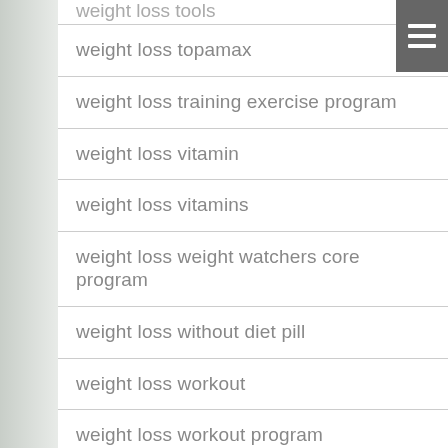weight loss tools
weight loss topamax
weight loss training exercise program
weight loss vitamin
weight loss vitamins
weight loss weight watchers core program
weight loss without diet pill
weight loss workout
weight loss workout program